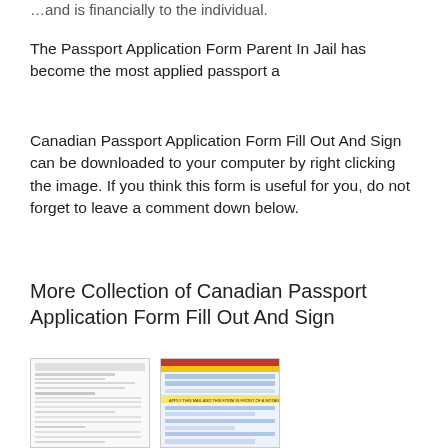…and is financially to the individual.
The Passport Application Form Parent In Jail has become the most applied passport a
Canadian Passport Application Form Fill Out And Sign can be downloaded to your computer by right clicking the image. If you think this form is useful for you, do not forget to leave a comment down below.
More Collection of Canadian Passport Application Form Fill Out And Sign
[Figure (photo): Thumbnail of a Canadian passport application form (plain white form with text fields)]
[Figure (photo): Thumbnail of a Canadian passport application form with yellow highlighted section and blue fields]